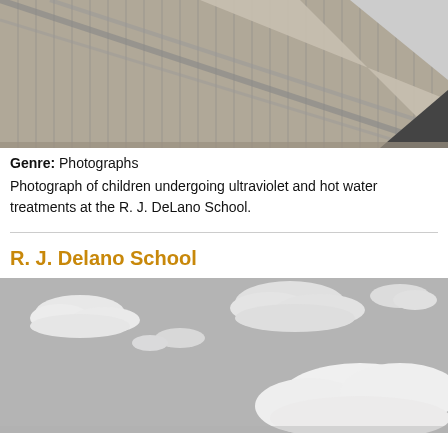[Figure (photo): Black and white photograph showing a wooden barn or building structure with diagonal roof beams visible from below, against a light sky.]
Genre: Photographs
Photograph of children undergoing ultraviolet and hot water treatments at the R. J. DeLano School.
R. J. Delano School
[Figure (photo): Black and white photograph of a sky with scattered white clouds against a grey background, taken from below.]